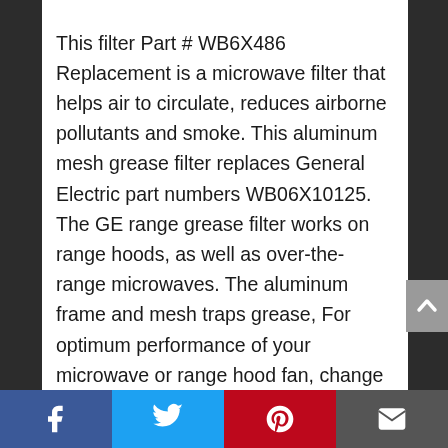This filter Part # WB6X486 Replacement is a microwave filter that helps air to circulate, reduces airborne pollutants and smoke. This aluminum mesh grease filter replaces General Electric part numbers WB06X10125. The GE range grease filter works on range hoods, as well as over-the-range microwaves. The aluminum frame and mesh traps grease, For optimum performance of your microwave or range hood fan, change your grease filter once a year or when a loss of air flow is detected. This filter is commonly found on General Electric, Hotpoint and Kenmore/Sears brands. The GE Over the Range Microwave and Hood Grease Filter